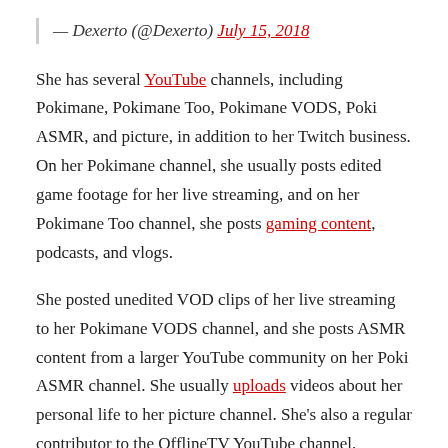— Dexerto (@Dexerto) July 15, 2018
She has several YouTube channels, including Pokimane, Pokimane Too, Pokimane VODS, Poki ASMR, and picture, in addition to her Twitch business. On her Pokimane channel, she usually posts edited game footage for her live streaming, and on her Pokimane Too channel, she posts gaming content, podcasts, and vlogs.
She posted unedited VOD clips of her live streaming to her Pokimane VODS channel, and she posts ASMR content from a larger YouTube community on her Poki ASMR channel. She usually uploads videos about her personal life to her picture channel. She's also a regular contributor to the OfflineTV YouTube channel.